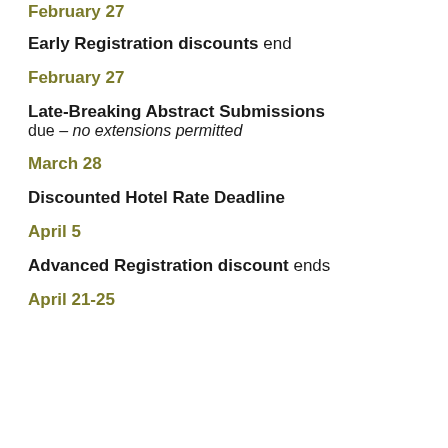February 27
Early Registration discounts end
February 27
Late-Breaking Abstract Submissions due – no extensions permitted
March 28
Discounted Hotel Rate Deadline
April 5
Advanced Registration discount ends
April 21-25